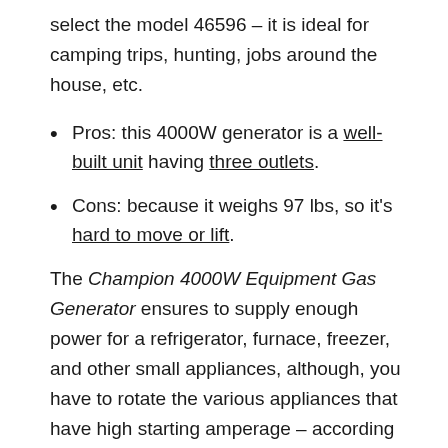select the model 46596 – it is ideal for camping trips, hunting, jobs around the house, etc.
Pros: this 4000W generator is a well-built unit having three outlets.
Cons: because it weighs 97 lbs, so it's hard to move or lift.
The Champion 4000W Equipment Gas Generator ensures to supply enough power for a refrigerator, furnace, freezer, and other small appliances, although, you have to rotate the various appliances that have high starting amperage – according to some users' reviews. Including a pull cord, this